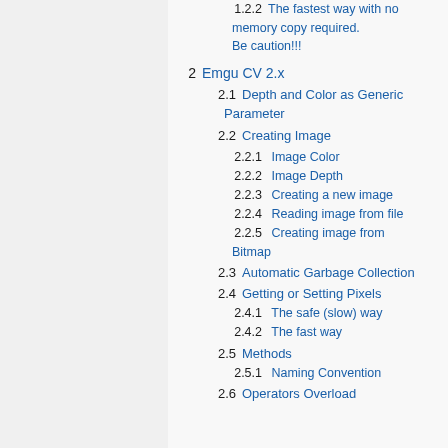1.2.2 The fastest way with no memory copy required. Be caution!!!
2 Emgu CV 2.x
2.1 Depth and Color as Generic Parameter
2.2 Creating Image
2.2.1 Image Color
2.2.2 Image Depth
2.2.3 Creating a new image
2.2.4 Reading image from file
2.2.5 Creating image from Bitmap
2.3 Automatic Garbage Collection
2.4 Getting or Setting Pixels
2.4.1 The safe (slow) way
2.4.2 The fast way
2.5 Methods
2.5.1 Naming Convention
2.6 Operators Overload